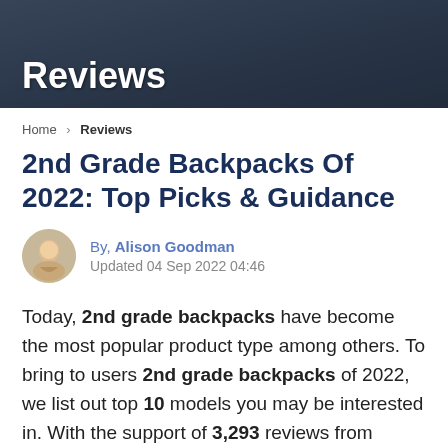Reviews
Home > Reviews
2nd Grade Backpacks Of 2022: Top Picks & Guidance
By, Alison Goodman
Updated 04 Sep 2022 04:46
Today, 2nd grade backpacks have become the most popular product type among others. To bring to users 2nd grade backpacks of 2022, we list out top 10 models you may be interested in. With the support of 3,293 reviews from customers, this list may be available. In addition, in the list below, you